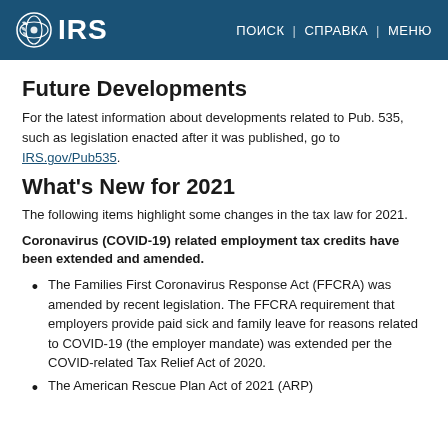IRS | ПОИСК | СПРАВКА | МЕНЮ
Future Developments
For the latest information about developments related to Pub. 535, such as legislation enacted after it was published, go to IRS.gov/Pub535.
What's New for 2021
The following items highlight some changes in the tax law for 2021.
Coronavirus (COVID-19) related employment tax credits have been extended and amended.
The Families First Coronavirus Response Act (FFCRA) was amended by recent legislation. The FFCRA requirement that employers provide paid sick and family leave for reasons related to COVID-19 (the employer mandate) was extended per the COVID-related Tax Relief Act of 2020.
The American Rescue Plan Act of 2021 (ARP)...